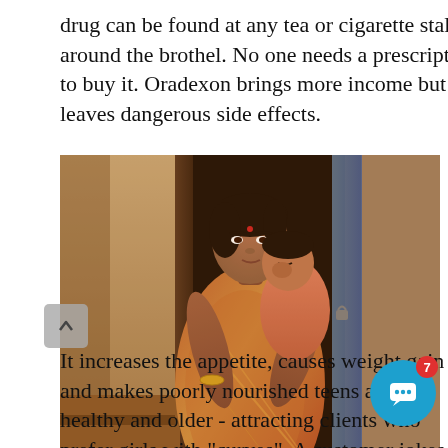drug can be found at any tea or cigarette stall around the brothel. No one needs a prescription to buy it. Oradexon brings more income but leaves dangerous side effects.
[Figure (photo): A woman in a colorful sari holding a young child in a doorway, with stone walls and a wooden door visible in the background.]
It increases the appetite, causes weight gain and makes poorly nourished teens appear healthy and older - attracting clients who prefer girls with "curves". A customer jokes with Hashi as she tries to pull him int... With at customers 50 to 60 taka Men can be...